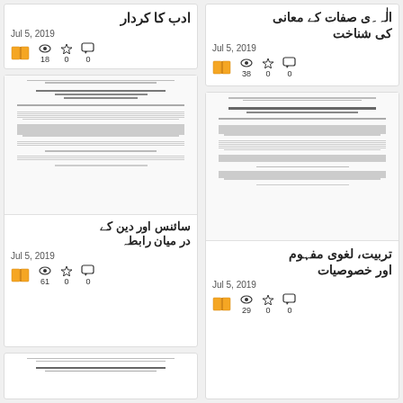ادب کا کردار
Jul 5, 2019
18 views, 0 favorites, 0 comments
[Figure (screenshot): Document preview of academic paper on integration of science and religion in Urdu/English]
سائنس اور دین کے درمیان رابطہ
Jul 5, 2019
61 views, 0 favorites, 0 comments
[Figure (screenshot): Partial document preview at bottom]
الٰہی صفات کے معانی کی شناخت
Jul 5, 2019
38 views, 0 favorites, 0 comments
[Figure (screenshot): Document preview of academic paper on Tarbiyat, lexical connotation and features]
تربیت، لغوی مفہوم اور خصوصیات
Jul 5, 2019
29 views, 0 favorites, 0 comments